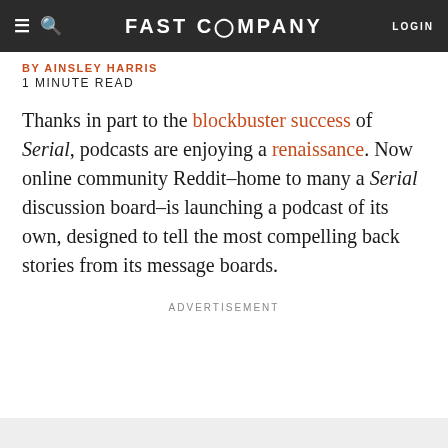FAST COMPANY
BY AINSLEY HARRIS
1 MINUTE READ
Thanks in part to the blockbuster success of Serial, podcasts are enjoying a renaissance. Now online community Reddit–home to many a Serial discussion board–is launching a podcast of its own, designed to tell the most compelling back stories from its message boards.
ADVERTISEMENT